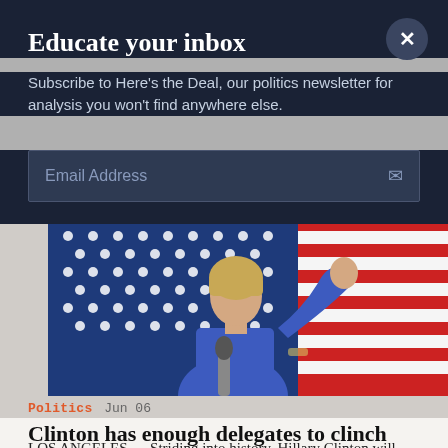Educate your inbox
Subscribe to Here's the Deal, our politics newsletter for analysis you won't find anywhere else.
Email Address
[Figure (photo): Hillary Clinton speaking at a rally in front of a large American flag, raising her hand, wearing a blue jacket and holding a microphone]
Politics  Jun 06
Clinton has enough delegates to clinch nomination, AP reports
LOS ANGELES — Striding into history, Hillary Clinton will